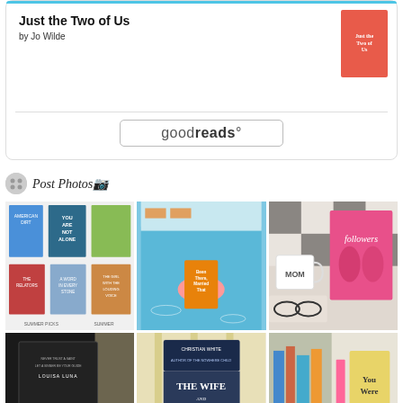Just the Two of Us
by Jo Wilde
[Figure (logo): goodreads logo button with rounded rectangle border]
Post Photos 📷
[Figure (photo): Book collage showing multiple book covers including American Dirt, You Are Not Alone, The Relators, A Word for Every Stone, The Girl with the Louding Voice]
[Figure (photo): Book Been There, Married That floating in a pool on a pink inflatable]
[Figure (photo): Book Followers next to a MOM mug on a black and white checkered cloth]
[Figure (photo): Louisa Luna book cover in dark setting]
[Figure (photo): The Wife by Christian White book on a yellow chair]
[Figure (photo): You Were book partially visible on bookshelf background]